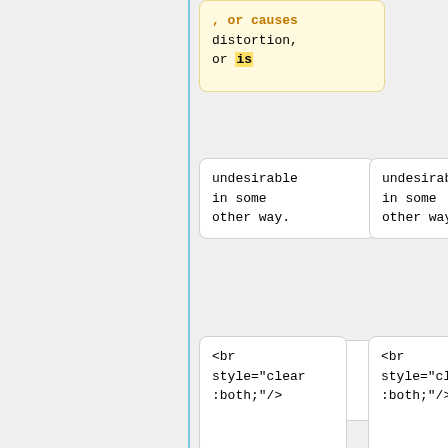, or causes distortion, or is
undesirable in some other way.
undesirable in some other way.
<br style="clear:both;"/>
<br style="clear:both;"/>
<center><div style="background-color:#DDDDF F;border-color:#CCCCD D;border-style:solid; width:80%;pa
<center><div style="background-color:#DDDDF F;border-color:#CCCCD D;border-style:solid; width:80%;pa